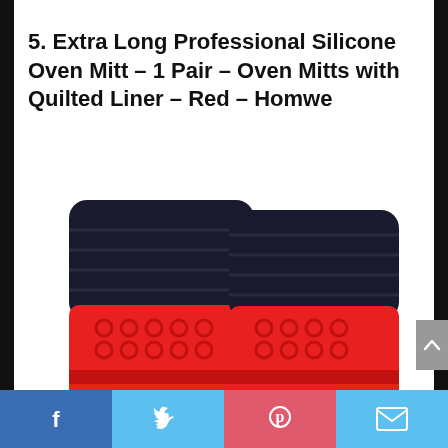5. Extra Long Professional Silicone Oven Mitt – 1 Pair – Oven Mitts with Quilted Liner – Red – Homwe
[Figure (photo): Two red silicone oven mitts with black quilted fabric cuffs, shown side by side. The red silicone portion features circular textured grip pattern. The mitts are photographed from below showing the cuff and body of the mitts.]
Facebook | Twitter | Pinterest | Email